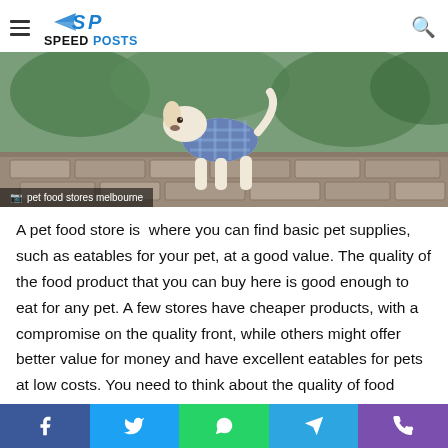SPEED POSTS
[Figure (photo): A small dog wearing a blue checkered sweater standing on a stone outdoor surface with grass in the background]
pet food stores melbourne
A pet food store is  where you can find basic pet supplies, such as eatables for your pet, at a good value. The quality of the food product that you can buy here is good enough to eat for any pet. A few stores have cheaper products, with a compromise on the quality front, while others might offer better value for money and have excellent eatables for pets at low costs. You need to think about the quality of food product that you can afford for your pet. The kind of store that you choose